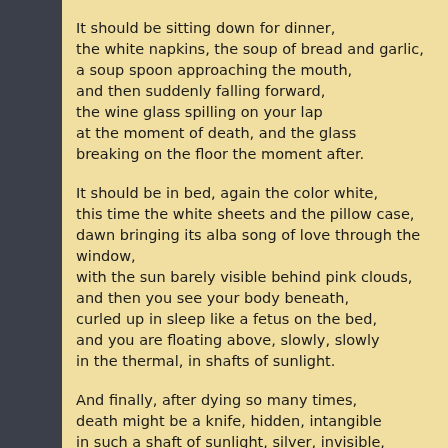It should be sitting down for dinner,
the white napkins, the soup of bread and garlic,
a soup spoon approaching the mouth,
and then suddenly falling forward,
the wine glass spilling on your lap
at the moment of death, and the glass
breaking on the floor the moment after.
It should be in bed, again the color white,
this time the white sheets and the pillow case,
dawn bringing its alba song of love through the window,
with the sun barely visible behind pink clouds,
and then you see your body beneath,
curled up in sleep like a fetus on the bed,
and you are floating above, slowly, slowly
in the thermal, in shafts of sunlight.
And finally, after dying so many times,
death might be a knife, hidden, intangible
in such a shaft of sunlight, silver, invisible,
a secret knife, not yours, not the kitchen's,